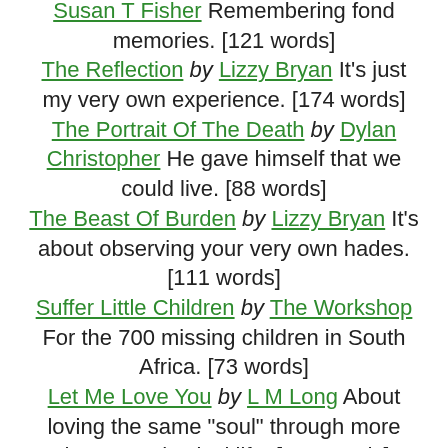Susan T Fisher Remembering fond memories. [121 words]
The Reflection by Lizzy Bryan It's just my very own experience. [174 words]
The Portrait Of The Death by Dylan Christopher He gave himself that we could live. [88 words]
The Beast Of Burden by Lizzy Bryan It's about observing your very own hades. [111 words]
Suffer Little Children by The Workshop For the 700 missing children in South Africa. [73 words]
Let Me Love You by L M Long About loving the same "soul" through more than one physical life. [143 words]
Just Be My Friend by Susan T Fisher Learning to be "just" a friend. [103 words]
It's Not My Fault Now by Susan T Fisher Growing...